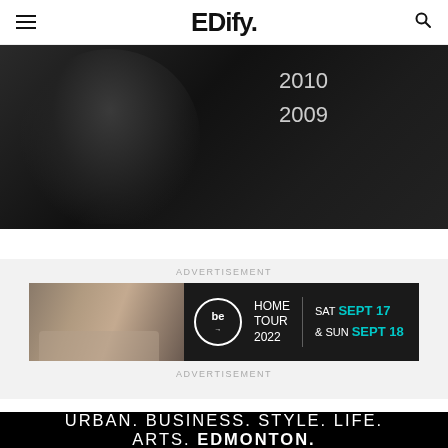EDify.
[Figure (photo): Dark black-and-white portrait of a person, with years '2010' and '2009' listed in light text overlay on the right side of the image]
2010
2009
ADVERTISEMENT
[Figure (photo): Advertisement banner for 'be Home Tour 2022' showing an interior with chairs, a circular logo, and text reading 'SAT SEPT 17 & SUN SEPT 18']
ADVERTISEMENT
URBAN. BUSINESS. STYLE. LIFE. ARTS. EDMONTON.